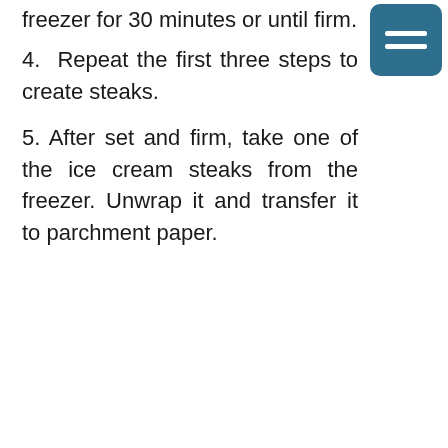freezer for 30 minutes or until firm.
4.  Repeat the first three steps to create steaks.
5. After set and firm, take one of the ice cream steaks from the freezer. Unwrap it and transfer it to parchment paper.